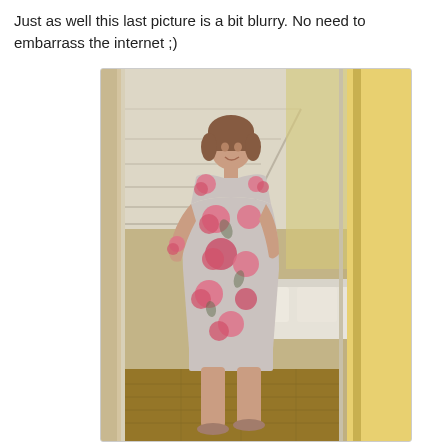Just as well this last picture is a bit blurry. No need to embarrass the internet ;)
[Figure (photo): A slightly blurry mirror selfie of a middle-aged woman wearing a gray and pink floral dress, standing in what appears to be a bedroom hallway with a staircase visible in the mirror reflection. She is holding a phone to take the photo. The floor is hardwood and a bed is partially visible in the background.]